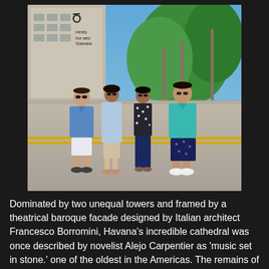[Figure (photo): Four people posing together outdoors in what appears to be a plaza or square in Havana, Cuba. Two men and two women standing together smiling, wearing sunglasses. In the background is a large building with an iron sculpture/sign on it, palm trees, and a wide open paved area. Sunny day.]
Dominated by two unequal towers and framed by a theatrical baroque facade designed by Italian architect Francesco Borromini, Havana's incredible cathedral was once described by novelist Alejo Carpentier as 'music set in stone.' one of the oldest in the Americas. The remains of Columbus were brought here from Santo Domingo in 1795 and interred until